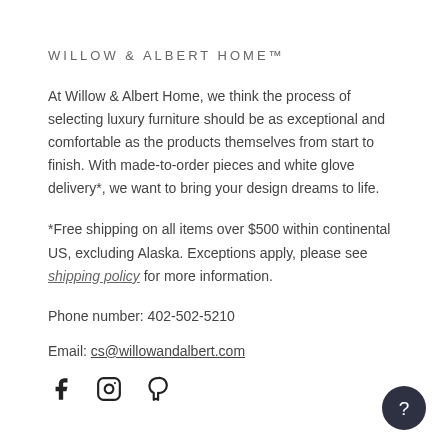WILLOW & ALBERT HOME™
At Willow & Albert Home, we think the process of selecting luxury furniture should be as exceptional and comfortable as the products themselves from start to finish. With made-to-order pieces and white glove delivery*, we want to bring your design dreams to life.
*Free shipping on all items over $500 within continental US, excluding Alaska. Exceptions apply, please see shipping policy for more information.
Phone number: 402-502-5210
Email: cs@willowandalbert.com
[Figure (other): Social media icons: Facebook, Instagram, Pinterest]
[Figure (other): Dark circular help/chat button with question mark]